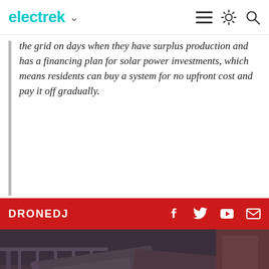electrek
the grid on days when they have surplus production and has a financing plan for solar power investments, which means residents can buy a system for no upfront cost and pay it off gradually.
DRONEDJ
[Figure (photo): Airbus Aliaca mini-drone mounted on a Navy vessel, headline article image for DroneDJ section]
France certifies Airbus Aliaca 'mini-drone' for use by Navy vessels